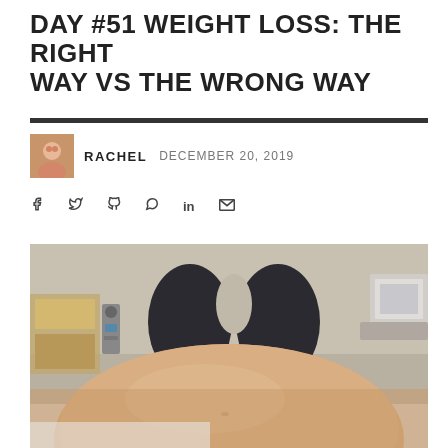DAY #51 WEIGHT LOSS: THE RIGHT WAY VS THE WRONG WAY
RACHEL   DECEMBER 20, 2019
[Figure (photo): Medical examination room photo taken from patient's perspective on exam table, showing large abdomen/belly in foreground with legs in dark pants visible in background, medical equipment on walls]
Social share icons: Facebook, Twitter, Pinterest, WhatsApp, LinkedIn, Email